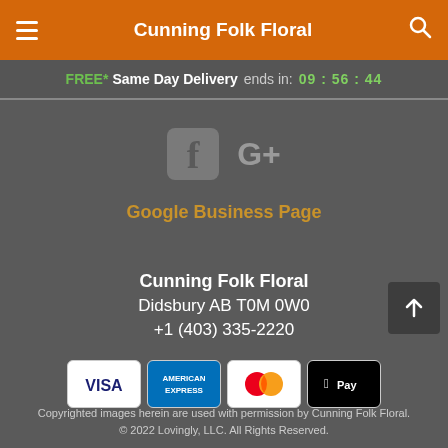Cunning Folk Floral
FREE* Same Day Delivery ends in: 09 : 56 : 44
[Figure (logo): Facebook icon (f) and Google+ icon side by side in gray]
Google Business Page
Cunning Folk Floral
Didsbury AB T0M 0W0
+1 (403) 335-2220
[Figure (other): Payment method logos: Visa, American Express, Mastercard, Apple Pay]
Copyrighted images herein are used with permission by Cunning Folk Floral.
© 2022 Lovingly, LLC. All Rights Reserved.